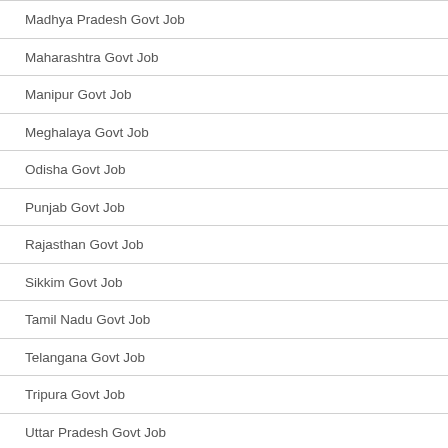Madhya Pradesh Govt Job
Maharashtra Govt Job
Manipur Govt Job
Meghalaya Govt Job
Odisha Govt Job
Punjab Govt Job
Rajasthan Govt Job
Sikkim Govt Job
Tamil Nadu Govt Job
Telangana Govt Job
Tripura Govt Job
Uttar Pradesh Govt Job
Uttarakhand Govt Job
West Bengal Govt Job